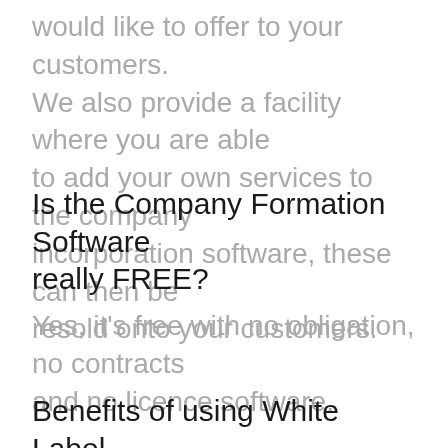would like to offer to your customers. We also provide a facility where you are able to add your own services to the company incorporation software, these can then be resold onto your customers.
Is the Company Formation Software really FREE?
Yes, it's free with no obligation, no contracts and no licence software.
Benefits of using White Label Company Formation